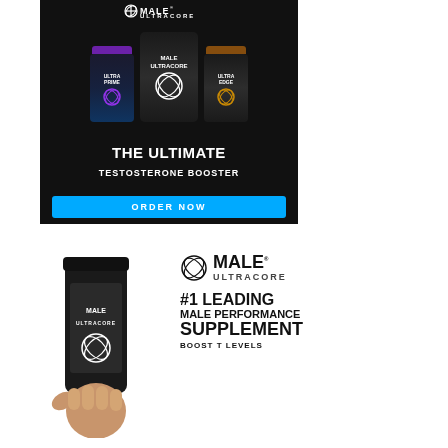[Figure (photo): Male Ultracore advertisement banner showing three supplement bottles (Ultra Prime, Male Ultracore, Ultra Edge) with text 'THE ULTIMATE TESTOSTERONE BOOSTER' and a blue 'ORDER NOW' button on dark background]
[Figure (photo): Male Ultracore product advertisement showing a hand holding a black supplement bottle with Male Ultracore logo, alongside brand logo and text '#1 LEADING MALE PERFORMANCE SUPPLEMENT BOOST T LEVELS']